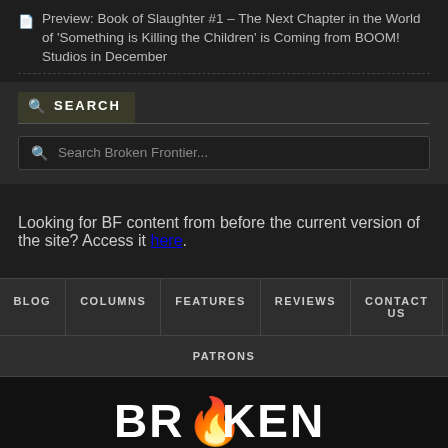Preview: Book of Slaughter #1 – The Next Chapter in the World of 'Something is Killing the Children' is Coming from BOOM! Studios in December
SEARCH
Search Broken Frontier...
Looking for BF content from before the current version of the site? Access it here.
HOME  BLOG  COLUMNS  FEATURES  REVIEWS  CONTACT US  STORE  PATRONS
[Figure (logo): Broken Frontier logo in white bold text with orange flame replacing the O in BROKEN]